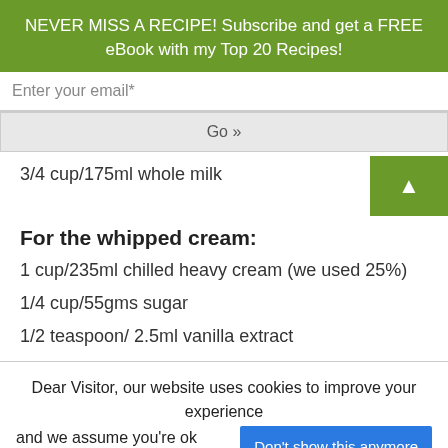NEVER MISS A RECIPE! Subscribe and get a FREE eBook with my Top 20 Recipes!
Enter your email*
Go »
3/4 cup/175ml whole milk
For the whipped cream:
1 cup/235ml chilled heavy cream (we used 25%)
1/4 cup/55gms sugar
1/2 teaspoon/ 2.5ml vanilla extract
Dear Visitor, our website uses cookies to improve your experience and we assume you're ok with this.
Don't show this anymore
Privacy Policy